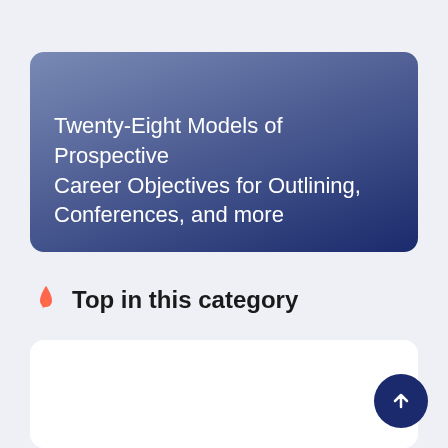Twenty-Eight Models of Prospective Career Objectives for Outlining, Conferences, and more
Top in this category
[Figure (other): White content card placeholder below the section header]